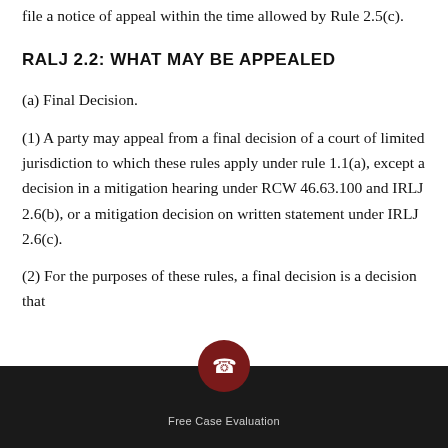file a notice of appeal within the time allowed by Rule 2.5(c).
RALJ 2.2: WHAT MAY BE APPEALED
(a) Final Decision.
(1) A party may appeal from a final decision of a court of limited jurisdiction to which these rules apply under rule 1.1(a), except a decision in a mitigation hearing under RCW 46.63.100 and IRLJ 2.6(b), or a mitigation decision on written statement under IRLJ 2.6(c).
(2) For the purposes of these rules, a final decision is a decision that...
[Figure (other): Dark footer bar with phone icon in a dark red circle and 'Free Case Evaluation' text in gray]